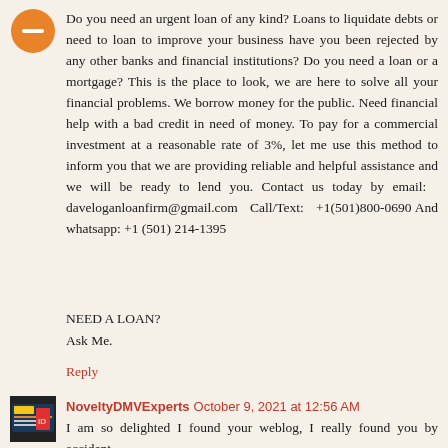[Figure (illustration): Orange circle avatar with a minus/dash icon in the center]
Do you need an urgent loan of any kind? Loans to liquidate debts or need to loan to improve your business have you been rejected by any other banks and financial institutions? Do you need a loan or a mortgage? This is the place to look, we are here to solve all your financial problems. We borrow money for the public. Need financial help with a bad credit in need of money. To pay for a commercial investment at a reasonable rate of 3%, let me use this method to inform you that we are providing reliable and helpful assistance and we will be ready to lend you. Contact us today by email: daveloganloanfirm@gmail.com Call/Text: +1(501)800-0690 And whatsapp: +1 (501) 214-1395
NEED A LOAN?
Ask Me.
Reply
[Figure (photo): Small square avatar image for NoveltyDMVExperts with colorful card design]
NoveltyDMVExperts October 9, 2021 at 12:56 AM
I am so delighted I found your weblog, I really found you by accident,
And would just like to say thank you for a fantastic post and a all